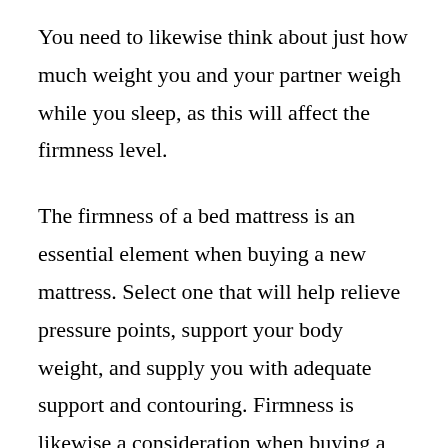You need to likewise think about just how much weight you and your partner weigh while you sleep, as this will affect the firmness level.
The firmness of a bed mattress is an essential element when buying a new mattress. Select one that will help relieve pressure points, support your body weight, and supply you with adequate support and contouring. Firmness is likewise a consideration when buying a brand-new bed mattress, due to the fact that each person has various requirements. Consider your